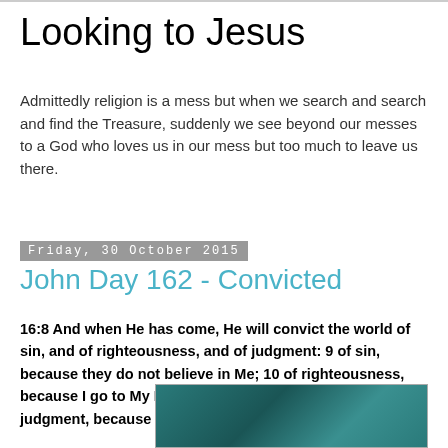Looking to Jesus
Admittedly religion is a mess but when we search and search and find the Treasure, suddenly we see beyond our messes to a God who loves us in our mess but too much to leave us there.
Friday, 30 October 2015
John Day 162 - Convicted
16:8 And when He has come, He will convict the world of sin, and of righteousness, and of judgment: 9 of sin, because they do not believe in Me; 10 of righteousness, because I go to My Father and you see Me no more; 11 of judgment, because the ruler of this world is judged."
[Figure (photo): Partial view of a teal/dark teal abstract or underwater-style background image]